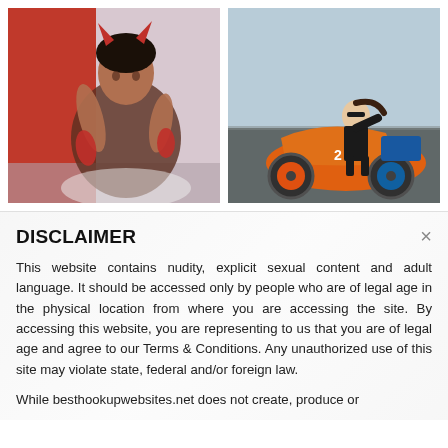[Figure (photo): Left: Woman in devil costume with red horns and red gloves sitting against a red and white background. Right: Woman in black outfit posing on an orange sport motorcycle on a racetrack.]
DISCLAIMER
This website contains nudity, explicit sexual content and adult language. It should be accessed only by people who are of legal age in the physical location from where you are accessing the site. By accessing this website, you are representing to us that you are of legal age and agree to our Terms & Conditions. Any unauthorized use of this site may violate state, federal and/or foreign law.
While besthookupwebsites.net does not create, produce or